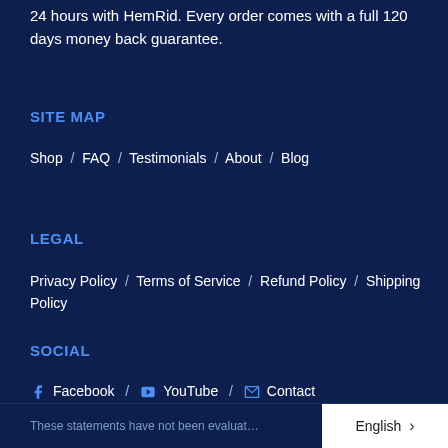24 hours with HemRid. Every order comes with a full 120 days money back guarantee.
SITE MAP
Shop / FAQ / Testimonials / About / Blog
LEGAL
Privacy Policy / Terms of Service / Refund Policy / Shipping Policy
SOCIAL
Facebook / YouTube / Contact
These statements have not been evaluated…
English